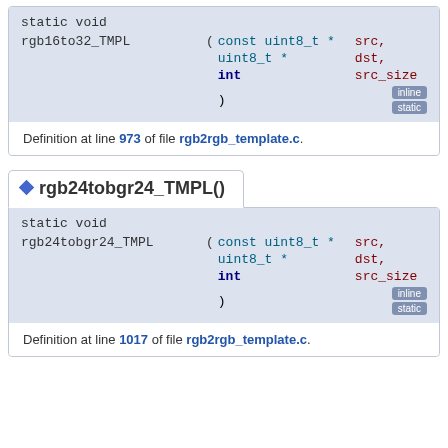static void rgb16to32_TMPL ( const uint8_t * src, uint8_t * dst, int src_size ) [inline] [static]
Definition at line 973 of file rgb2rgb_template.c.
◆ rgb24tobgr24_TMPL()
static void rgb24tobgr24_TMPL ( const uint8_t * src, uint8_t * dst, int src_size ) [inline] [static]
Definition at line 1017 of file rgb2rgb_template.c.